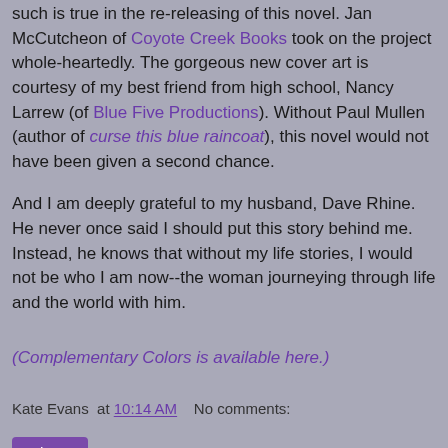such is true in the re-releasing of this novel. Jan McCutcheon of Coyote Creek Books took on the project whole-heartedly. The gorgeous new cover art is courtesy of my best friend from high school, Nancy Larrew (of Blue Five Productions). Without Paul Mullen (author of curse this blue raincoat), this novel would not have been given a second chance.
And I am deeply grateful to my husband, Dave Rhine. He never once said I should put this story behind me. Instead, he knows that without my life stories, I would not be who I am now--the woman journeying through life and the world with him.
(Complementary Colors is available here.)
Kate Evans at 10:14 AM   No comments: